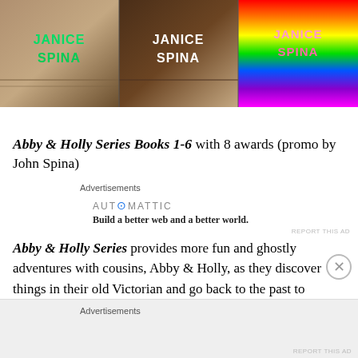[Figure (illustration): Banner with three panels each showing 'JANICE SPINA' text — left panel has green text on wood/brown background, middle panel has white text on dark wood background, right panel has pink/white text on rainbow-colored striped background]
Abby & Holly Series Books 1-6 with 8 awards (promo by John Spina)
Advertisements
[Figure (logo): Automattic logo with tagline 'Build a better web and a better world.']
REPORT THIS AD
Abby & Holly Series provides more fun and ghostly adventures with cousins, Abby & Holly, as they discover things in their old Victorian and go back to the past to
Advertisements
REPORT THIS AD